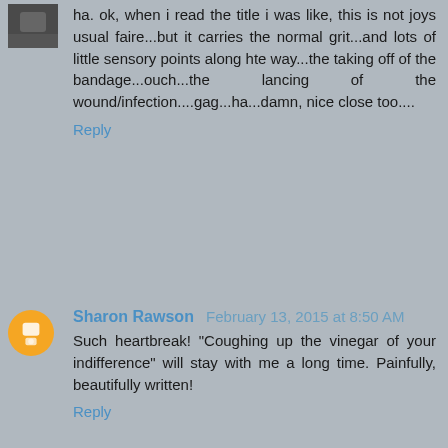ha. ok, when i read the title i was like, this is not joys usual faire...but it carries the normal grit...and lots of little sensory points along hte way...the taking off of the bandage...ouch...the lancing of the wound/infection....gag...ha...damn, nice close too....
Reply
Sharon Rawson February 13, 2015 at 8:50 AM
Such heartbreak! "Coughing up the vinegar of your indifference" will stay with me a long time. Painfully, beautifully written!
Reply
Fireblossom February 13, 2015 at 8:59 AM
*sputters* There it is. Hedge trotting out her literary heavy artillery, blowing the rest of us, and that bar, way the hell into next week. The opening stanza is inspired and as attention-grabbing as a slap in the chops. Then you maintain that level of inventive intelligence and immediacy